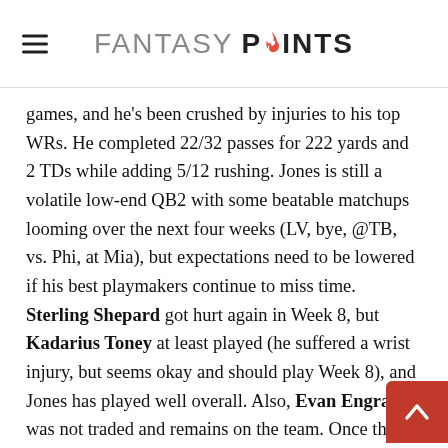FANTASY POINTS
games, and he's been crushed by injuries to his top WRs. He completed 22/32 passes for 222 yards and 2 TDs while adding 5/12 rushing. Jones is still a volatile low-end QB2 with some beatable matchups looming over the next four weeks (LV, bye, @TB, vs. Phi, at Mia), but expectations need to be lowered if his best playmakers continue to miss time. Sterling Shepard got hurt again in Week 8, but Kadarius Toney at least played (he suffered a wrist injury, but seems okay and should play Week 8), and Jones has played well overall. Also, Evan Engram was not traded and remains on the team. Once they get LT Andrew Thomas back, as long as he has 3-4 viable receivers, Jones definitely has a chance to